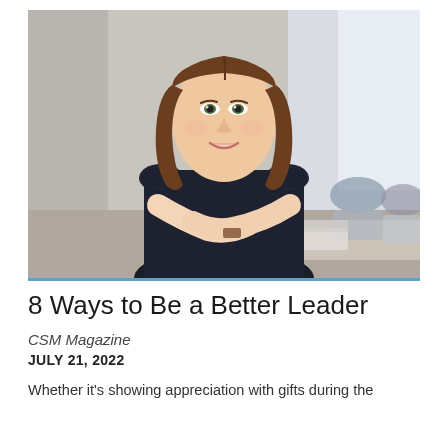[Figure (photo): Professional woman with brown hair, wearing a dark navy/black cap-sleeve top, arms crossed, smiling confidently at the camera. Office environment in background with colleagues seated at a table near large windows.]
8 Ways to Be a Better Leader
CSM Magazine
JULY 21, 2022
Whether it's showing appreciation with gifts during the